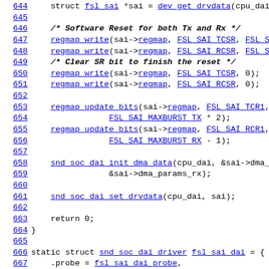[Figure (screenshot): Source code listing showing C kernel driver code, lines 644-669, with line numbers in blue/underlined on the left and code content on the right. Code includes software reset for Tx and Rx, register writes, regmap_update_bits calls, snd_soc_dai_init_dma_data, snd_soc_dai_set_drvdata, return 0, closing brace, and start of static struct snd_soc_dai_driver fsl_sai_dai definition.]